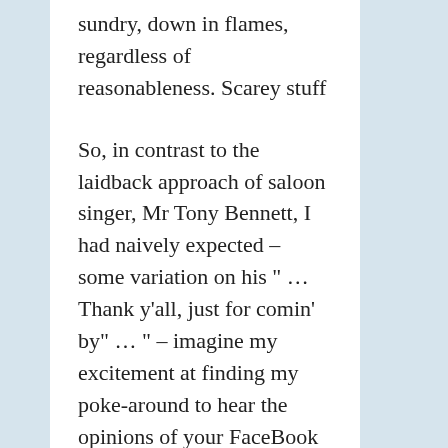sundry, down in flames, regardless of reasonableness. Scarey stuff
So, in contrast to the laidback approach of saloon singer, Mr Tony Bennett, I had naively expected – some variation on his " …Thank y'all, just for comin' by" … " – imagine my excitement at finding my poke-around to hear the opinions of your FaceBook Friends reminded me of my boyhood trip to